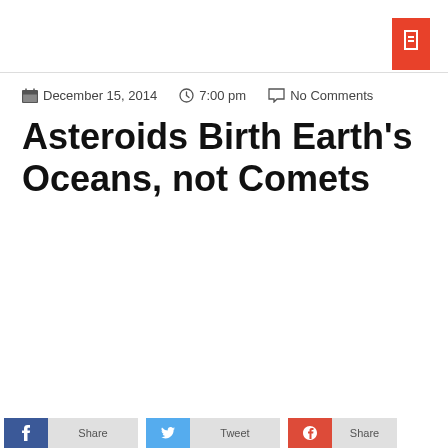December 15, 2014  7:00 pm  No Comments
Asteroids Birth Earth's Oceans, not Comets